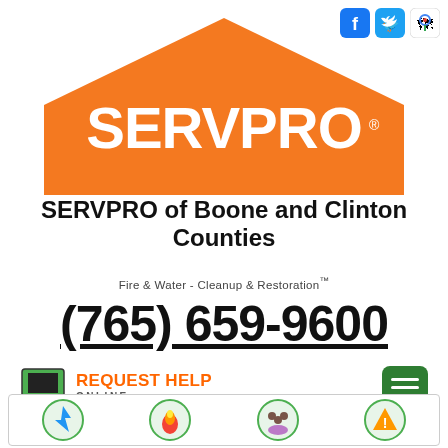[Figure (logo): SERVPRO orange house logo with SERVPRO text in white]
SERVPRO of Boone and Clinton Counties
Fire & Water - Cleanup & Restoration™
(765) 659-9600
[Figure (infographic): REQUEST HELP ONLINE button with monitor icon and green hamburger menu button]
[Figure (infographic): Bottom navigation strip with circular category icons]